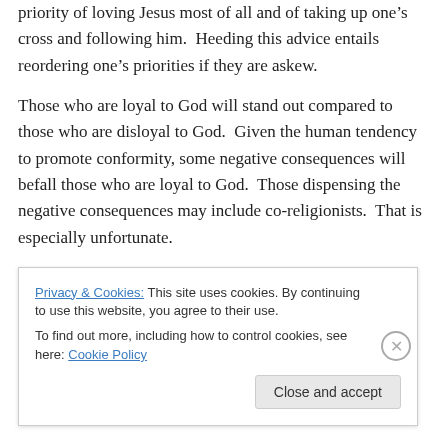priority of loving Jesus most of all and of taking up one's cross and following him.  Heeding this advice entails reordering one's priorities if they are askew.
Those who are loyal to God will stand out compared to those who are disloyal to God.  Given the human tendency to promote conformity, some negative consequences will befall those who are loyal to God.  Those dispensing the negative consequences may include co-religionists.  That is especially unfortunate.
Privacy & Cookies: This site uses cookies. By continuing to use this website, you agree to their use.
To find out more, including how to control cookies, see here: Cookie Policy